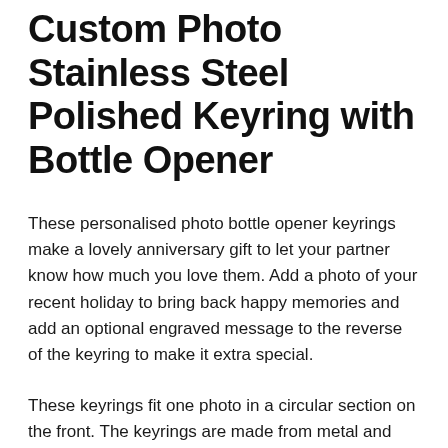Custom Photo Stainless Steel Polished Keyring with Bottle Opener
These personalised photo bottle opener keyrings make a lovely anniversary gift to let your partner know how much you love them. Add a photo of your recent holiday to bring back happy memories and add an optional engraved message to the reverse of the keyring to make it extra special.
These keyrings fit one photo in a circular section on the front. The keyrings are made from metal and have a high shine finish.